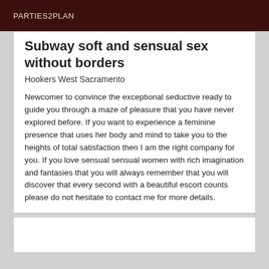PARTIES2PLAN
Subway soft and sensual sex without borders
Hookers West Sacramento
Newcomer to convince the exceptional seductive ready to guide you through a maze of pleasure that you have never explored before. If you want to experience a feminine presence that uses her body and mind to take you to the heights of total satisfaction then I am the right company for you. If you love sensual sensual women with rich imagination and fantasies that you will always remember that you will discover that every second with a beautiful escort counts please do not hesitate to contact me for more details.